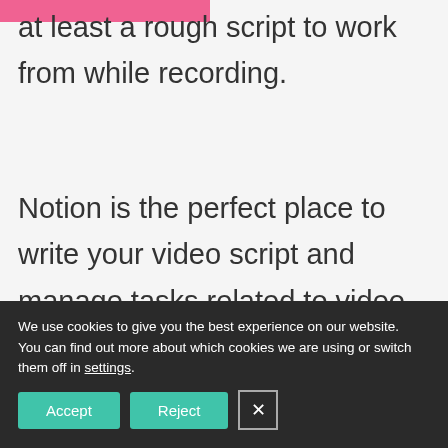at least a rough script to work from while recording.
Notion is the perfect place to write your video script and manage tasks related to video content all in one place. Which handily leads to my next tip.
Track video content
We use cookies to give you the best experience on our website.
You can find out more about which cookies we are using or switch them off in settings.